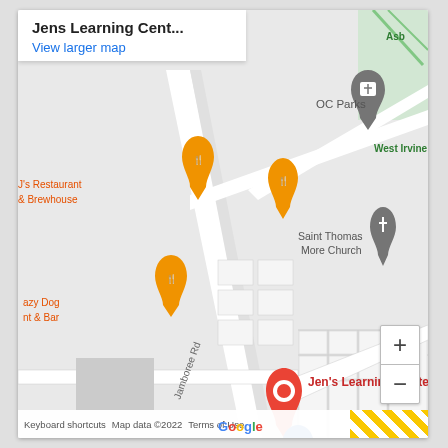Jens Learning Cent...
View larger map
[Figure (map): Google Maps screenshot showing Jen's Learning Center near Jamboree Rd, with nearby landmarks including OC Parks, Saint Thomas More Church, J's Restaurant & Brewhouse, Lazy Dog nt & Bar, Target, Farmers Market, Las Palmas Homes, and Anacapa street. Red pin marks Jen's Learning Center. Target shown with blue pin. Street labels include Jamboree Rd, Anacapa, Palmas Dr.]
Keyboard shortcuts   Map data ©2022   Terms of Use